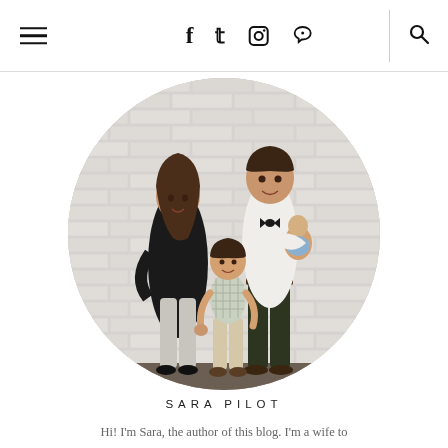☰  f  🐦  📷   pinterest  🔍
[Figure (photo): Circular cropped family photo of a woman with long brown hair, a man in a white shirt and bow tie holding a baby, and a toddler boy standing in front of them, posed against a white brick wall.]
SARA PILOT
Hi! I'm Sara, the author of this blog. I'm a wife to the love of my life, and a mommy to two little boys.